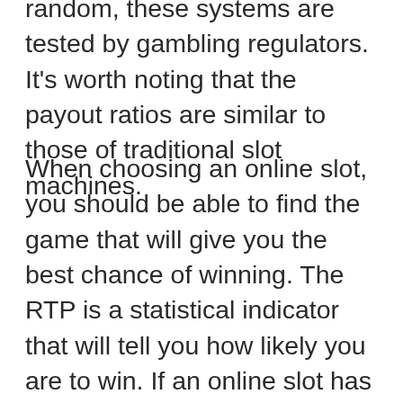random, these systems are tested by gambling regulators. It's worth noting that the payout ratios are similar to those of traditional slot machines.
When choosing an online slot, you should be able to find the game that will give you the best chance of winning. The RTP is a statistical indicator that will tell you how likely you are to win. If an online slot has a high RTP, you can expect to win a large percentage of the time. The higher the RTP, the more you can bet and increase your chances of winning. Once you've chosen the right game, you can start playing and winning big!
There are three main types of online slots. Red, black, and blue bets have a 50/50 chance of winning. If you're lucky, you can win double your bet.